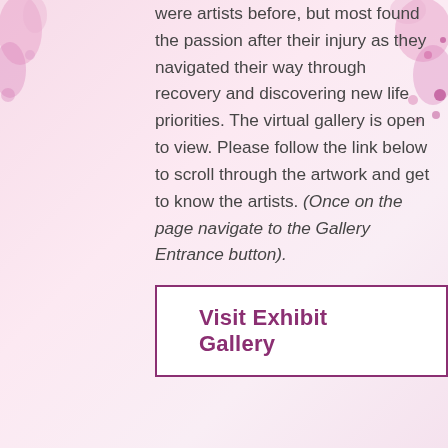were artists before, but most found the passion after their injury as they navigated their way through recovery and discovering new life priorities. The virtual gallery is open to view. Please follow the link below to scroll through the artwork and get to know the artists. (Once on the page navigate to the Gallery Entrance button).
[Figure (illustration): Decorative pink floral/watercolor splash background with pink dots and blotches in top-left and top-right corners]
Visit Exhibit Gallery